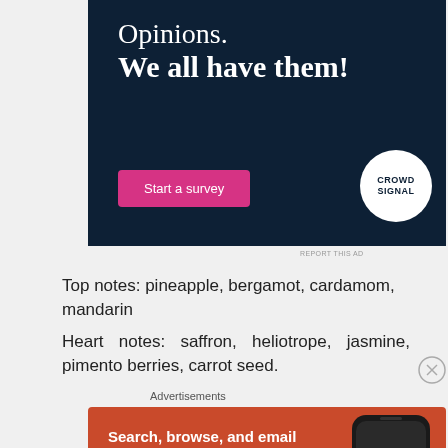[Figure (illustration): CrowdSignal advertisement with dark navy background. Text reads 'Opinions. We all have them!' with a pink 'Start a survey' button and CrowdSignal logo.]
Top notes: pineapple, bergamot, cardamom, mandarin
Heart notes: saffron, heliotrope, jasmine, pimento berries, carrot seed.
Advertisements
[Figure (illustration): DuckDuckGo advertisement with orange background. Text reads 'Search, browse, and email with more privacy. All in One Free App' with a phone image and DuckDuckGo logo.]